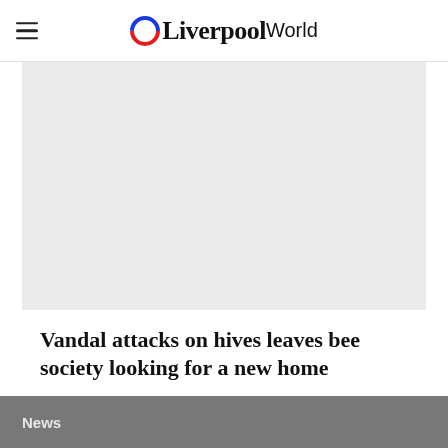OLiverpool World
[Figure (photo): Light gray placeholder image area for an article photo]
Vandal attacks on hives leaves bee society looking for a new home
News